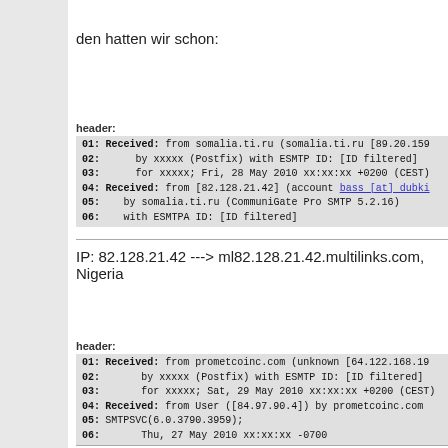den hatten wir schon:
header:
| 01: | Received: from somalia.ti.ru (somalia.ti.ru [89.20.159... |
| 02: |      by xxxxx (Postfix) with ESMTP ID: [ID filtered] |
| 03: |      for xxxxx; Fri, 28 May 2010 xx:xx:xx +0200 (CEST) |
| 04: | Received: from [82.128.21.42] (account bass [at] dubki... |
| 05: |    by somalia.ti.ru (CommuniGate Pro SMTP 5.2.16) |
| 06: |    with ESMTPA ID: [ID filtered] |
IP: 82.128.21.42 ---> ml82.128.21.42.multilinks.com, Nigeria
header:
| 01: | Received: from prometcoinc.com (unknown [64.122.168.19... |
| 02: |       by xxxxx (Postfix) with ESMTP ID: [ID filtered] |
| 03: |       for xxxxx; Sat, 29 May 2010 xx:xx:xx +0200 (CEST) |
| 04: | Received: from User ([84.97.90.4]) by prometcoinc.com |
| 05: | SMTPSVC(6.0.3790.3959); |
| 06: |        Thu, 27 May 2010 xx:xx:xx -0700 |